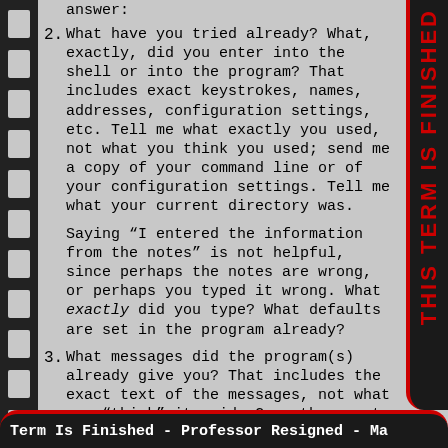answer:
2. What have you tried already? What, exactly, did you enter into the shell or into the program? That includes exact keystrokes, names, addresses, configuration settings, etc. Tell me what exactly you used, not what you think you used; send me a copy of your command line or of your configuration settings. Tell me what your current directory was.
Saying “I entered the information from the notes” is not helpful, since perhaps the notes are wrong, or perhaps you typed it wrong. What exactly did you type? What defaults are set in the program already?
3. What messages did the program(s) already give you? That includes the exact text of the messages, not what you “think” it said. Copy the exact text of what the program said into your question to me.
Term Is Finished - Professor Resigned - Ma